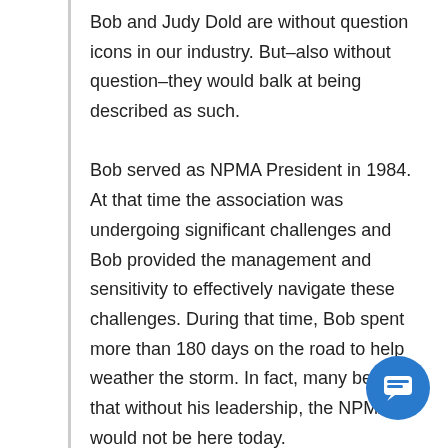Bob and Judy Dold are without question icons in our industry. But–also without question–they would balk at being described as such.
Bob served as NPMA President in 1984. At that time the association was undergoing significant challenges and Bob provided the management and sensitivity to effectively navigate these challenges. During that time, Bob spent more than 180 days on the road to help weather the storm. In fact, many believe that without his leadership, the NPMA would not be here today.
Judy also served as NPMA President in 2001. A former English teacher, Judy is a champion of paying forward. She was the impetus behind NPMA's